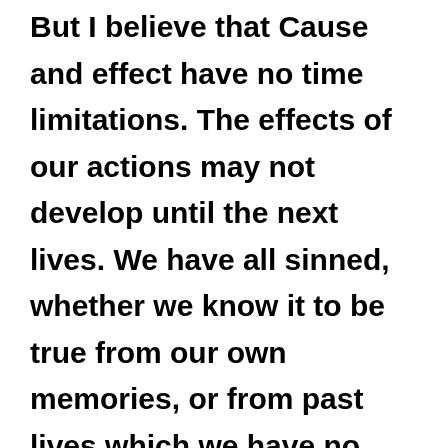But I believe that Cause and effect have no time limitations. The effects of our actions may not develop until the next lives. We have all sinned, whether we know it to be true from our own memories, or from past lives which we have no recollections. For this reason, we do not know what waits around the corner, whether it is good or bad news. Causality warns the world, that we